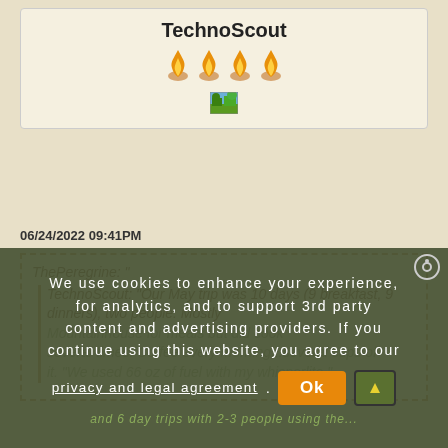TechnoScout
[Figure (illustration): Four orange flame icons in a row representing reputation/rating]
[Figure (illustration): Small landscape/nature pixel icon]
06/24/2022 09:41PM
ThePeregrine: " TechnoScout: "Our May trip was 10 days (9 breakfast, 9 dinners), two people. Mostly Mountainhouse for meals but did cook several times. Coffee every morning...several cups of it. We used 66 oz of fuel with my whisperlite."
We use cookies to enhance your experience, for analytics, and to support 3rd party content and advertising providers. If you continue using this website, you agree to our privacy and legal agreement. Ok